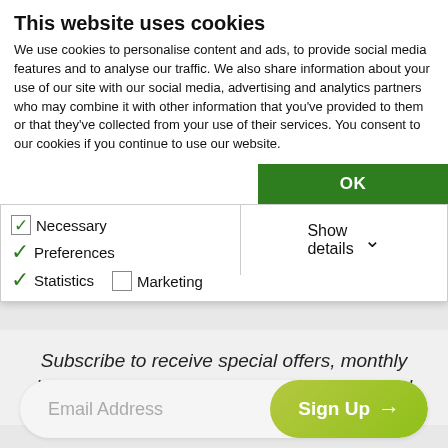This website uses cookies
We use cookies to personalise content and ads, to provide social media features and to analyse our traffic. We also share information about your use of our site with our social media, advertising and analytics partners who may combine it with other information that you've provided to them or that they've collected from your use of their services. You consent to our cookies if you continue to use our website.
OK
Necessary  Preferences  Statistics  Marketing  Show details
Contact Us ›
Subscribe to receive special offers, monthly books suggestions, seasonal selections, and more!
Email Address  Sign Up →